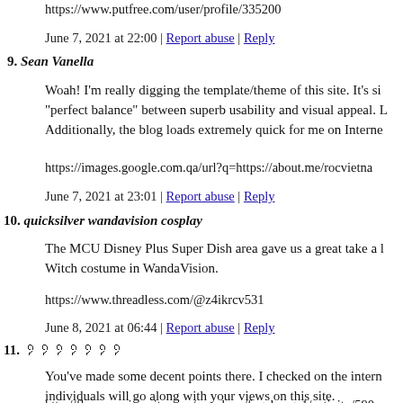https://www.putfree.com/user/profile/335200
June 7, 2021 at 22:00 | Report abuse | Reply
9. Sean Vanella
Woah! I'm really digging the template/theme of this site. It's si "perfect balance" between superb usability and visual appeal. Additionally, the blog loads extremely quick for me on Interne
https://images.google.com.qa/url?q=https://about.me/rocvietna
June 7, 2021 at 23:01 | Report abuse | Reply
10. quicksilver wandavision cosplay
The MCU Disney Plus Super Dish area gave us a great take a Witch costume in WandaVision.
https://www.threadless.com/@z4ikrcv531
June 8, 2021 at 06:44 | Report abuse | Reply
11. ᠀᠀᠀᠀᠀᠀᠀
You've made some decent points there. I checked on the intern individuals will go along with your views on this site.
http://fluencyuniversity.com/members/fogchange1/activity/590